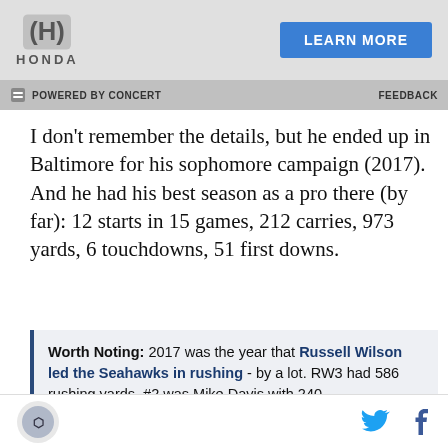[Figure (other): Honda advertisement banner with Honda logo and 'LEARN MORE' blue button]
POWERED BY CONCERT   FEEDBACK
I don't remember the details, but he ended up in Baltimore for his sophomore campaign (2017). And he had his best season as a pro there (by far): 12 starts in 15 games, 212 carries, 973 yards, 6 touchdowns, 51 first downs.
Worth Noting: 2017 was the year that Russell Wilson led the Seahawks in rushing - by a lot. RW3 had 586 rushing yards. #2 was Mike Davis with 240.

Meanwhile, Alex Collins had almost 1,000 yards for